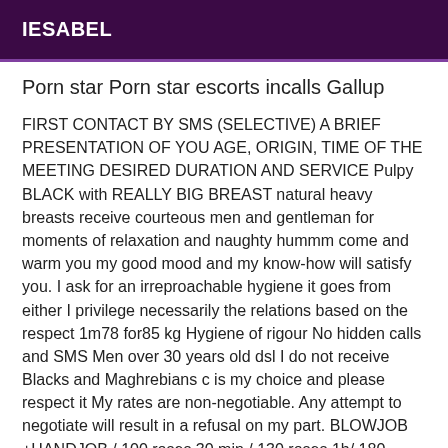IESABEL
Porn star Porn star escorts incalls Gallup
FIRST CONTACT BY SMS (SELECTIVE) A BRIEF PRESENTATION OF YOU AGE, ORIGIN, TIME OF THE MEETING DESIRED DURATION AND SERVICE Pulpy BLACK with REALLY BIG BREAST natural heavy breasts receive courteous men and gentleman for moments of relaxation and naughty hummm come and warm you my good mood and my know-how will satisfy you. I ask for an irreproachable hygiene it goes from either I privilege necessarily the relations based on the respect 1m78 for85 kg Hygiene of rigour No hidden calls and SMS Men over 30 years old dsl I do not receive Blacks and Maghrebians c is my choice and please respect it My rates are non-negotiable. Any attempt to negotiate will result in a refusal on my part. BLOWJOB +HANDJOB / 100 roses 30 min / 130 roses 1h/ 180 roses